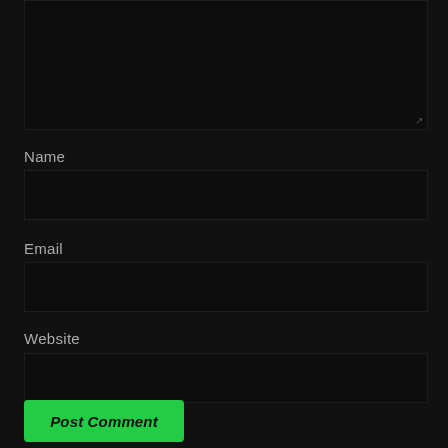[Figure (screenshot): Dark-themed comment form textarea (top portion visible, mostly black/dark background)]
Name
[Figure (screenshot): Dark input field for Name]
Email
[Figure (screenshot): Dark input field for Email]
Website
[Figure (screenshot): Dark input field for Website]
Post Comment